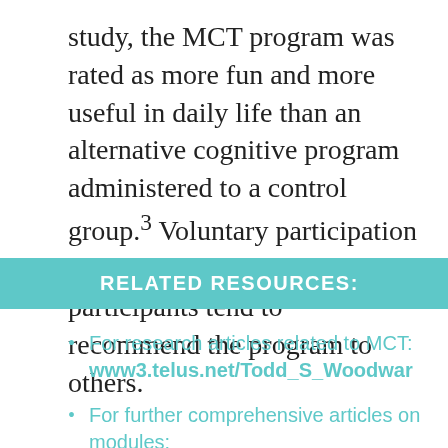study, the MCT program was rated as more fun and more useful in daily life than an alternative cognitive program administered to a control group.³ Voluntary participation has been excellent, and the participants tend to recommend the program to others.
RELATED RESOURCES:
For research articles related to MCT: www3.telus.net/Todd_S_Woodwar...
For further comprehensive articles on modules: